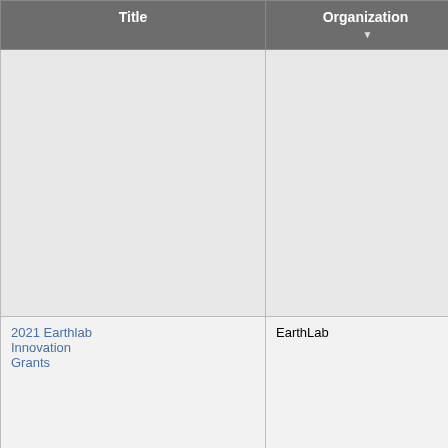| Title | Organization ▼ | Grant Deadline | Description |
| --- | --- | --- | --- |
|  |  |  | Conservation: hands-on environmental learning pro... Arts & Culture: arts educati... children and youth as well a... support for museums and t... performing arts. |
| 2021 Earthlab Innovation Grants | EarthLab |  | Deadline passed. Most re... deadline: January 27, 202... EarthLab is looking to fund that demonstrate co-creatio... partnership between comm... partners and University of Washington researchers, interdisciplinary collaboratio... action at the intersection of (both mitigation and adapta... social justice, and the pote... growth of the project or par... The Innovation Grants Prog... has $300,000 available for current funding cycle, with a maximum budget request... |